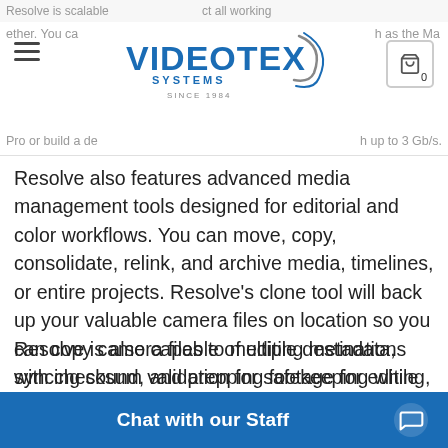Resolve is scalable... VIDEOTEX SYSTEMS SINCE 1984 ... Pro or build a de... up to 3 Gb/s.
Resolve also features advanced media management tools designed for editorial and color workflows. You can move, copy, consolidate, relink, and archive media, timelines, or entire projects. Resolve’s clone tool will back up your valuable camera files on location so you can copy camera files to multiple destinations with checksum validation for safekeeping while you’re still on set.
Resolve is also capable of editing metadata, syncing sound, and prepping footage for editing, grading, or visual effects. Resolve supports almost any format, and also includes powerful delivery options for versioning, finishing, and delivery at any resolution and format, so you can export for various destination types. Resolve works from your camera originals so your finished...
Chat with our Staff